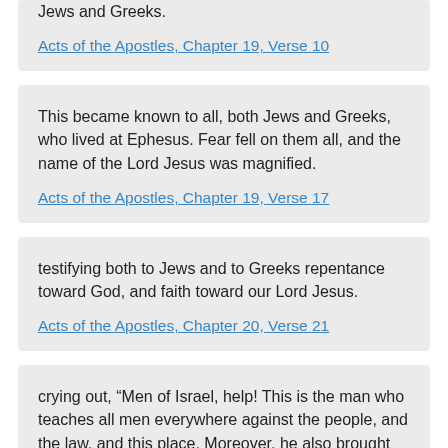Jews and Greeks.
Acts of the Apostles, Chapter 19, Verse 10
This became known to all, both Jews and Greeks, who lived at Ephesus. Fear fell on them all, and the name of the Lord Jesus was magnified.
Acts of the Apostles, Chapter 19, Verse 17
testifying both to Jews and to Greeks repentance toward God, and faith toward our Lord Jesus.
Acts of the Apostles, Chapter 20, Verse 21
crying out, “Men of Israel, help! This is the man who teaches all men everywhere against the people, and the law, and this place. Moreover, he also brought Greeks into the temple, and has defiled this holy place!”